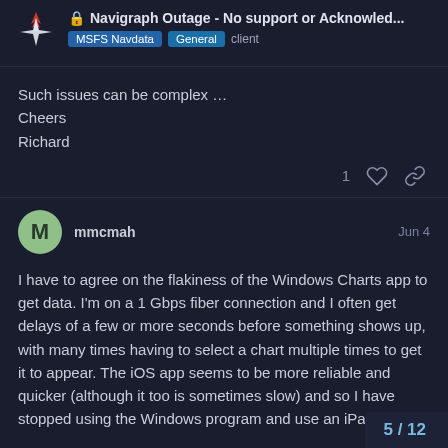🔒 Navigraph Outage - No support or Acknowled... | MSFS Navdata | General | client
Such issues can be complex ...
Cheers
Richard
mmcmah  Jun 4
I have to agree on the flakiness of the Windows Charts app to get data. I'm on a 1 Gbps fiber connection and I often get delays of a few or more seconds before something shows up, with many times having to select a chart multiple times to get it to appear. The iOS app seems to be more reliable and quicker (although it too is sometimes slow) and so I have stopped using the Windows program and use an iPad.
5 / 12